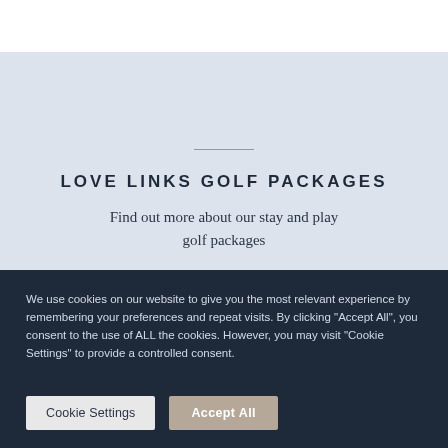LOVE LINKS GOLF PACKAGES
Find out more about our stay and play golf packages
We use cookies on our website to give you the most relevant experience by remembering your preferences and repeat visits. By clicking "Accept All", you consent to the use of ALL the cookies. However, you may visit "Cookie Settings" to provide a controlled consent.